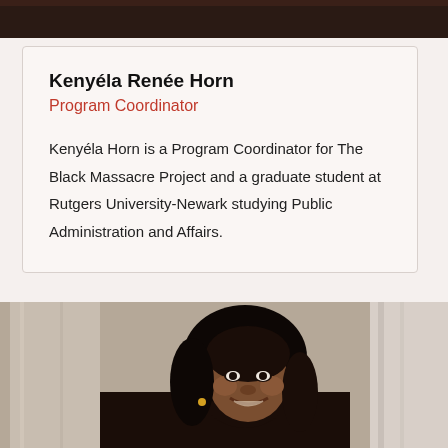[Figure (photo): Dark photo strip at top of page, partial view of a dark background]
Kenyéla Renée Horn
Program Coordinator
Kenyéla Horn is a Program Coordinator for The Black Massacre Project and a graduate student at Rutgers University-Newark studying Public Administration and Affairs.
[Figure (photo): Portrait photo of Kenyéla Renée Horn, a woman with long curly dark hair, smiling, photographed in front of a stone/column background]